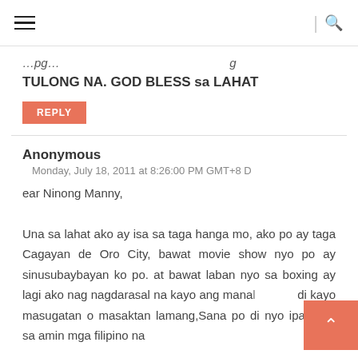≡ | 🔍
TULONG NA. GOD BLESS sa LAHAT
REPLY
Anonymous
Monday, July 18, 2011 at 8:26:00 PM GMT+8 D
ear Ninong Manny,
Una sa lahat ako ay isa sa taga hanga mo, ako po ay taga Cagayan de Oro City, bawat movie show nyo po ay sinusubaybayan ko po. at bawat laban nyo sa boxing ay lagi ako nag nagdarasal na kayo ang mana di kayo masugatan o masaktan lamang,Sana po di nyo ipag kait sa amin mga filipino na